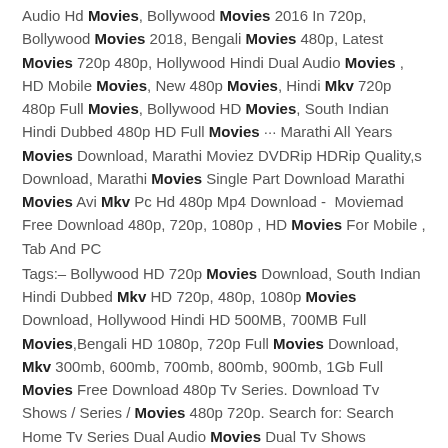Audio Hd Movies, Bollywood Movies 2016 In 720p, Bollywood Movies 2018, Bengali Movies 480p, Latest Movies 720p 480p, Hollywood Hindi Dual Audio Movies , HD Mobile Movies, New 480p Movies, Hindi Mkv 720p 480p Full Movies, Bollywood HD Movies, South Indian Hindi Dubbed 480p HD Full Movies ··· Marathi All Years Movies Download, Marathi Moviez DVDRip HDRip Quality,s Download, Marathi Movies Single Part Download Marathi Movies Avi Mkv Pc Hd 480p Mp4 Download ‐ Moviemad Free Download 480p, 720p, 1080p , HD Movies For Mobile , Tab And PC
Tags:– Bollywood HD 720p Movies Download, South Indian Hindi Dubbed Mkv HD 720p, 480p, 1080p Movies Download, Hollywood Hindi HD 500MB, 700MB Full Movies,Bengali HD 1080p, 720p Full Movies Download, Mkv 300mb, 600mb, 700mb, 800mb, 900mb, 1Gb Full Movies Free Download 480p Tv Series. Download Tv Shows / Series / Movies 480p 720p. Search for: Search Home Tv Series Dual Audio Movies Dual Tv Shows REQUEST US
downloadfury Direct Download new 300mb movies Dual Audio 480p , hollywood 300mbmovies ,Hindi Dual Audio Movies, 300mb Hindi Dubbed movies , latest 300mbmovies , hollywood 300mb dual audio movies , mkv 300mb movies